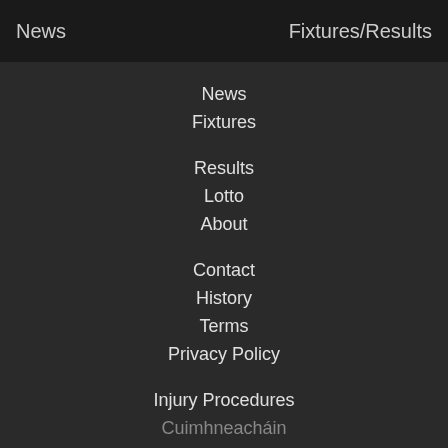News   Fixtures/Results
News
Fixtures
Results
Lotto
About
Contact
History
Terms
Privacy Policy
Injury Procedures
Cuimhneacháin
Historic Club Notes
Capital Club
MAI